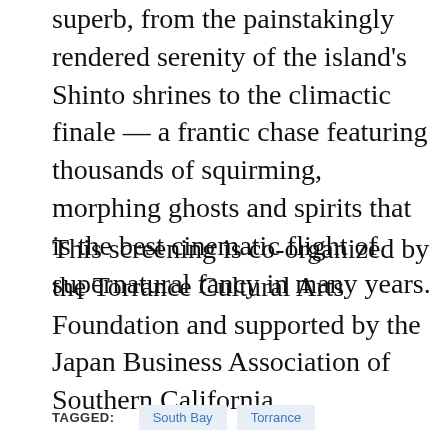superb, from the painstakingly rendered serenity of the island's Shinto shrines to the climactic finale — a frantic chase featuring thousands of squirming, morphing ghosts and spirits that is the best cinematic flight of supernatural fancy in many years.
This screening is co-organized by the Torrance Cultural Arts Foundation and supported by the Japan Business Association of Southern California.
TAGGED: South Bay Torrance